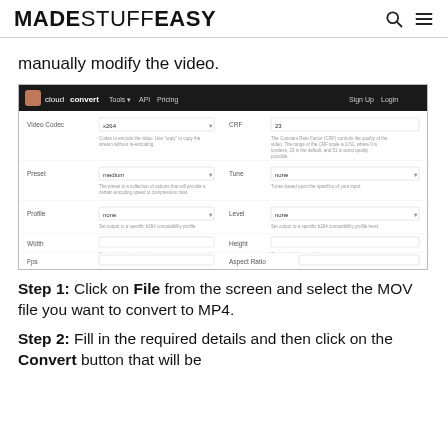MADESTUFFEASY
manually modify the video.
[Figure (screenshot): CloudConvert website screenshot showing video conversion settings: Video Codec (x264), CRF (23), Preset (medium), Tune (none), Profile (none), Level (none), Width, Height, Fps, Aspect Ratio fields.]
Step 1: Click on File from the screen and select the MOV file you want to convert to MP4.
Step 2: Fill in the required details and then click on the Convert button that will be